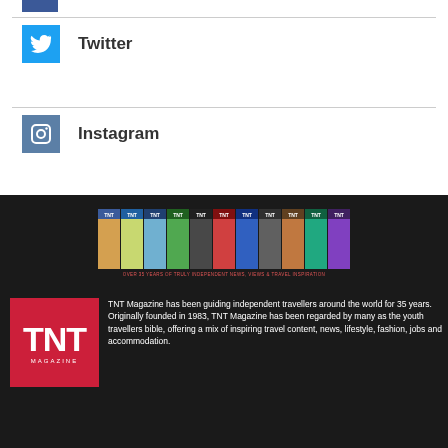[Figure (logo): Facebook icon (partial, blue square at top)]
[Figure (logo): Twitter bird icon in cyan/blue box with label 'Twitter']
[Figure (logo): Instagram camera icon in steel-blue box with label 'Instagram']
[Figure (illustration): Row of TNT Magazine covers on black background with tagline: OVER 35 YEARS OF TRULY INDEPENDENT NEWS, VIEWS & TRAVEL INSPIRATION]
[Figure (logo): TNT Magazine red logo box with white bold TNT text and MAGAZINE subtitle]
TNT Magazine has been guiding independent travellers around the world for 35 years. Originally founded in 1983, TNT Magazine has been regarded by many as the youth travellers bible, offering a mix of inspiring travel content, news, lifestyle, fashion, jobs and accommodation.